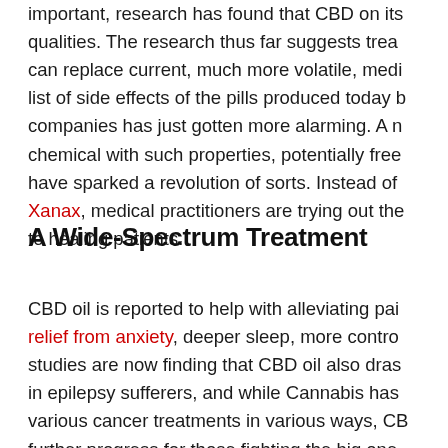important, research has found that CBD on its qualities. The research thus far suggests trea can replace current, much more volatile, medi list of side effects of the pills produced today b companies has just gotten more alarming. A n chemical with such properties, potentially free have sparked a revolution of sorts. Instead of Xanax, medical practitioners are trying out the to healing patients.
A Wide-Spectrum Treatment
CBD oil is reported to help with alleviating pai relief from anxiety, deeper sleep, more contro studies are now finding that CBD oil also dras in epilepsy sufferers, and while Cannabis has various cancer treatments in various ways, CB further progress for those fighting the big one.